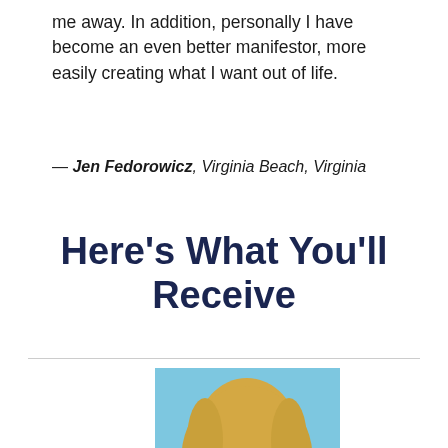me away. In addition, personally I have become an even better manifestor, more easily creating what I want out of life.
— Jen Fedorowicz, Virginia Beach, Virginia
Here's What You'll Receive
[Figure (photo): Headshot of a smiling blonde woman against a light blue background]